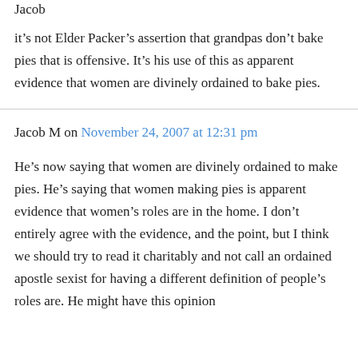Jacob
it's not Elder Packer's assertion that grandpas don't bake pies that is offensive. It's his use of this as apparent evidence that women are divinely ordained to bake pies.
Jacob M on November 24, 2007 at 12:31 pm
He's now saying that women are divinely ordained to make pies. He's saying that women making pies is apparent evidence that women's roles are in the home. I don't entirely agree with the evidence, and the point, but I think we should try to read it charitably and not call an ordained apostle sexist for having a different definition of people's roles are. He might have this opinion